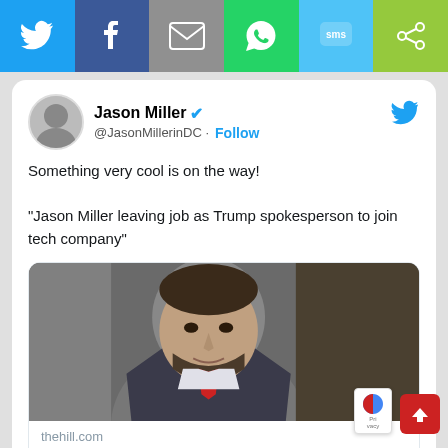[Figure (screenshot): Social media share bar with Twitter, Facebook, Email, WhatsApp, SMS, and ShareThis icons]
Jason Miller @JasonMillerinDC · Follow
Something very cool is on the way!

“Jason Miller leaving job as Trump spokesperson to join tech company”
[Figure (photo): Photo of Jason Miller, a man with dark hair and beard wearing a suit]
thehill.com
Jason Miller leaving job as Trump spokesperson to join tech company